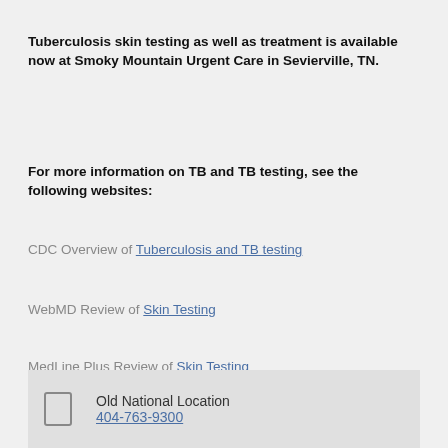Tuberculosis skin testing as well as treatment is available now at Smoky Mountain Urgent Care in Sevierville, TN.
For more information on TB and TB testing, see the following websites:
CDC Overview of Tuberculosis and TB testing
WebMD Review of Skin Testing
MedLine Plus Review of Skin Testing
Old National Location
404-763-9300